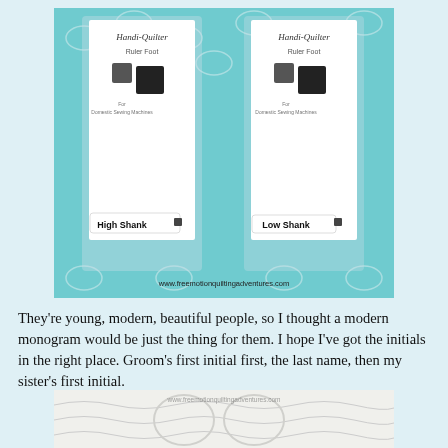[Figure (photo): Two packaged ruler feet for sewing machines labeled 'High Shank' and 'Low Shank', shown in plastic packaging with Handi-Quilter branding. A teal patterned fabric is visible in the background. The website www.freemotionquiltingadventures.com is printed at the bottom.]
They're young, modern, beautiful people, so I thought a modern monogram would be just the thing for them. I hope I've got the initials in the right place. Groom's first initial first, the last name, then my sister's first initial.
[Figure (photo): Close-up photo of quilted fabric with monogram letters embroidered in white thread on white fabric, with the website www.freemotionquiltingadventures.com watermarked.]